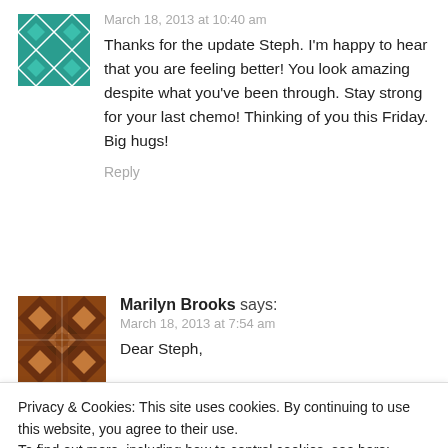[Figure (illustration): Teal/green geometric patterned avatar icon (diamond and triangle mosaic design)]
March 18, 2013 at 10:40 am
Thanks for the update Steph. I'm happy to hear that you are feeling better! You look amazing despite what you've been through. Stay strong for your last chemo! Thinking of you this Friday. Big hugs!
Reply
[Figure (illustration): Brown geometric patterned avatar icon (diamond and cross mosaic design)]
Marilyn Brooks says:
March 18, 2013 at 7:54 am
Dear Steph,
Privacy & Cookies: This site uses cookies. By continuing to use this website, you agree to their use.
To find out more, including how to control cookies, see here: Cookie Policy
Close and accept
three years ago my department head